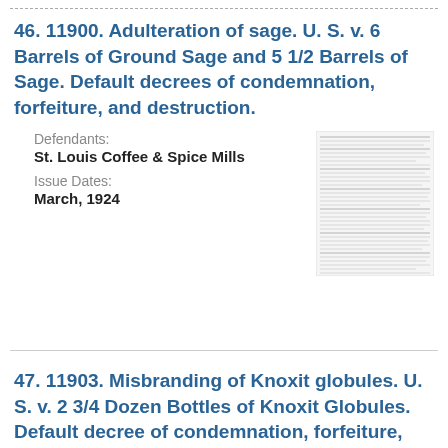46. 11900. Adulteration of sage. U. S. v. 6 Barrels of Ground Sage and 5 1/2 Barrels of Sage. Default decrees of condemnation, forfeiture, and destruction.
Defendants: St. Louis Coffee & Spice Mills
Issue Dates: March, 1924
[Figure (photo): Small thumbnail image of a document page with dense text, appearing as a miniature scanned page.]
47. 11903. Misbranding of Knoxit globules. U. S. v. 2 3/4 Dozen Bottles of Knoxit Globules. Default decree of condemnation, forfeiture, and destruction.